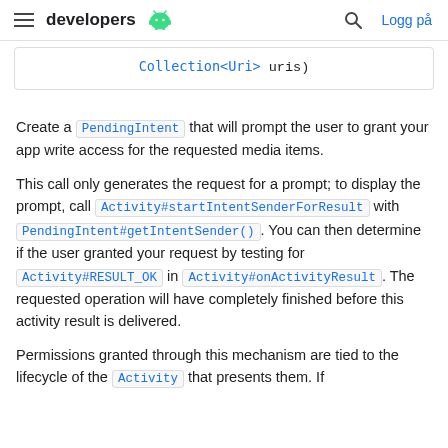developers | Logg på
Collection<Uri> uris)
Create a PendingIntent that will prompt the user to grant your app write access for the requested media items.
This call only generates the request for a prompt; to display the prompt, call Activity#startIntentSenderForResult with PendingIntent#getIntentSender(). You can then determine if the user granted your request by testing for Activity#RESULT_OK in Activity#onActivityResult. The requested operation will have completely finished before this activity result is delivered.
Permissions granted through this mechanism are tied to the lifecycle of the Activity that presents them. If you...